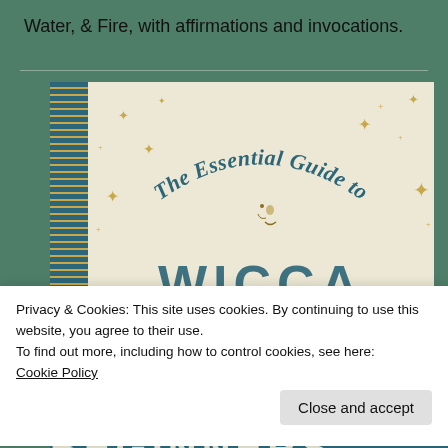Water, & Fire, with affirmations and invocations.
[Figure (illustration): Book cover for 'The Essential Guide to Wicca for Beginners' showing an arched title in teal serif font, a golden crescent moon with a face, decorative stars and sparkles on a cream/linen textured background, with a teal and gold striped spine on the left.]
Privacy & Cookies: This site uses cookies. By continuing to use this website, you agree to their use.
To find out more, including how to control cookies, see here:
Cookie Policy
Close and accept